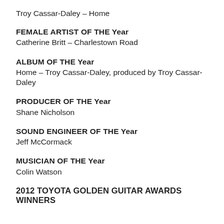Troy Cassar-Daley – Home
FEMALE ARTIST OF THE Year
Catherine Britt – Charlestown Road
ALBUM OF THE Year
Home – Troy Cassar-Daley, produced by Troy Cassar-Daley
PRODUCER OF THE Year
Shane Nicholson
SOUND ENGINEER OF THE Year
Jeff McCormack
MUSICIAN OF THE Year
Colin Watson
2012 TOYOTA GOLDEN GUITAR AWARDS WINNERS